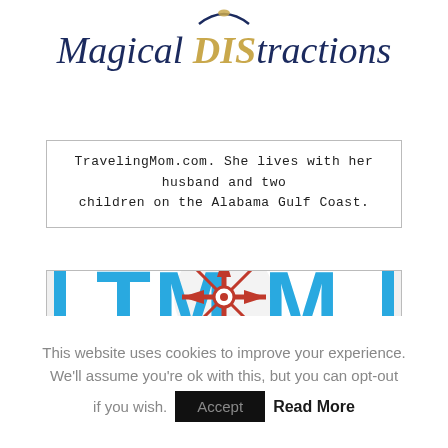[Figure (logo): Magical DIStractions website logo with arc shape on top, 'Magical' in navy italic, 'DIS' in gold bold italic, 'tractions' in navy italic]
TravelingMom.com. She lives with her husband and two children on the Alabama Gulf Coast.
[Figure (logo): TravelingMom (TMOM) logo - blue rounded rectangle border with TMOM text in blue and red compass rose in center replacing the O]
This website uses cookies to improve your experience. We'll assume you're ok with this, but you can opt-out if you wish. Accept Read More